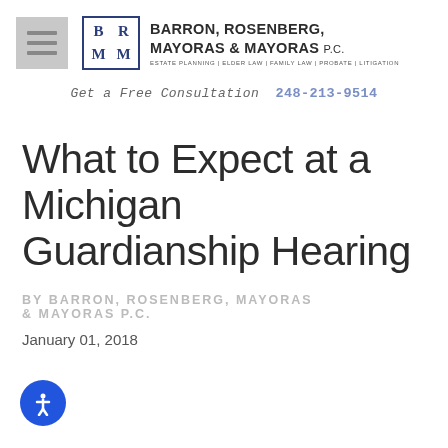Barron, Rosenberg, Mayoras & Mayoras P.C. | Estate Planning | Elder Law | Family Law | Probate | Litigation
Get a Free Consultation 248-213-9514
What to Expect at a Michigan Guardianship Hearing
BY BARRON, ROSENBERG, MAYORAS & MAYORAS P.C.
January 01, 2018